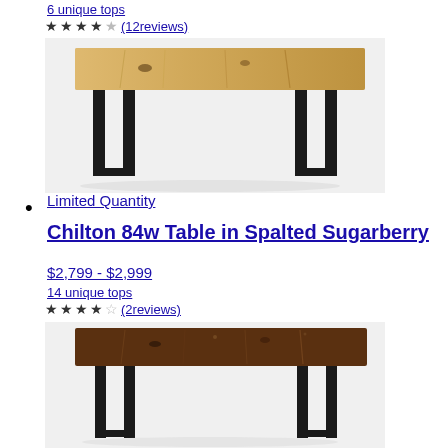6 unique tops
★★★★☆(12reviews)
[Figure (photo): A dining table with a light spalted wood top and black metal U-shaped legs, photographed from a slight angle.]
Limited Quantity
Chilton 84w Table in Spalted Sugarberry
$2,799 - $2,999
14 unique tops
★★★★☆(2reviews)
[Figure (photo): A dining table with a dark spalted sugarberry wood top and black metal U-shaped legs, photographed from a slight angle.]